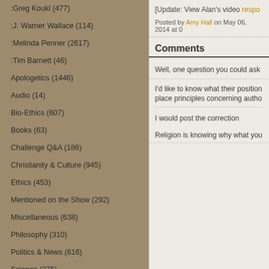:Greg Koukl (477)
:J. Warner Wallace (114)
:Melinda Penner (2617)
:Tim Barnett (46)
Apologetics (1446)
Audio (14)
Bio-Ethics (607)
Books (63)
Challenge Q&A (186)
Christianity & Culture (945)
Ethics (453)
Mentioned on the Show (292)
Miscellaneous (638)
Philosophy (310)
Politics & News (616)
Science (275)
Tactics (59)
Theology (1276)
[Update: View Alan's video respo...
Posted by Amy Hall on May 06, 2014 at ...
Comments
Well, one question you could ask...
I'd like to know what their position... place principles concerning autho...
I would post the correction
Religion is knowing why what you...